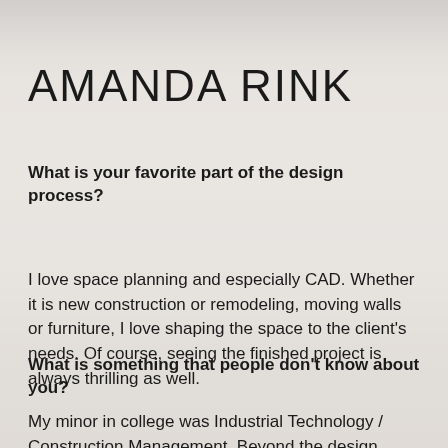AMANDA RINK
What is your favorite part of the design process?
I love space planning and especially CAD. Whether it is new construction or remodeling, moving walls or furniture, I love shaping the space to the client's needs. Of course, seeing the finished project is always thrilling as well.
What is something that people don't know about you?
My minor in college was Industrial Technology / Construction Management. Beyond the design process, I also love collaborating with architects and